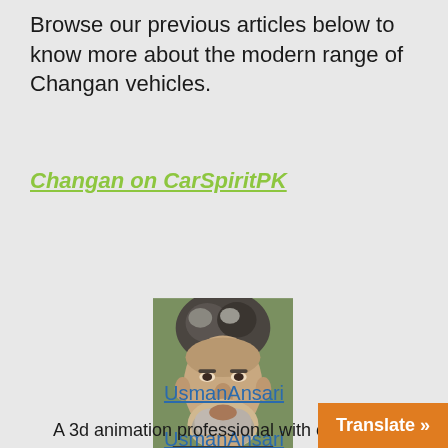Browse our previous articles below to know more about the modern range of Changan vehicles.
Changan on CarSpiritPK
[Figure (photo): Portrait photo of a middle-aged man with grey-streaked hair and beard, looking slightly upward, against a green background.]
UsmanAnsari
A 3d animation professional with over 20 years of industry experience having served in leading organizations & production facilities of Pakistan, an avid car enthusiast an affection to deliver writings to help shape